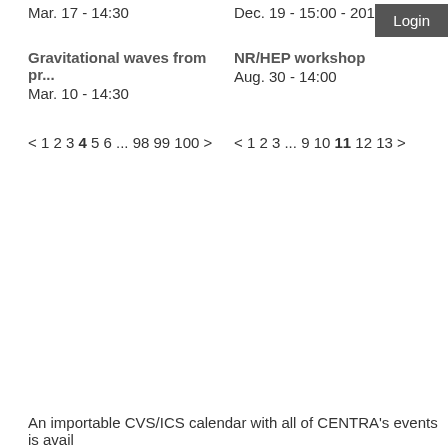Mar. 17 - 14:30
Dec. 19 - 15:00 - 2011 - 15:0
Login
Gravitational waves from pr...
Mar. 10 - 14:30
NR/HEP workshop
Aug. 30 - 14:00
< 1 2 3 4 5 6 ... 98 99 100 >
< 1 2 3 ... 9 10 11 12 13 >
An importable CVS/ICS calendar with all of CENTRA's events is avail